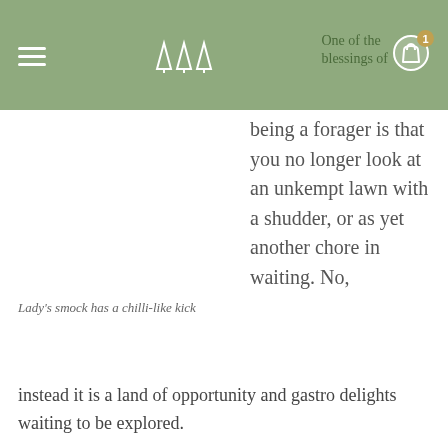≡  △△△  One of the blessings of  🛒 1
One of the blessings of being a forager is that you no longer look at an unkempt lawn with a shudder, or as yet another chore in waiting. No, instead it is a land of opportunity and gastro delights waiting to be explored.
Lady's smock has a chilli-like kick